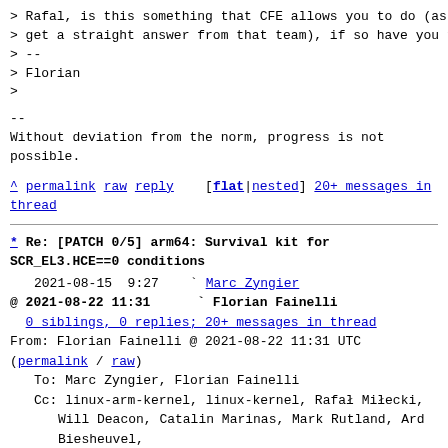> Rafal, is this something that CFE allows you to do (as I could not
> get a straight answer from that team), if so have you tried it?
> --
> Florian
>
--
Without deviation from the norm, progress is not possible.
^ permalink raw reply   [flat|nested] 20+ messages in thread
* Re: [PATCH 0/5] arm64: Survival kit for SCR_EL3.HCE==0 conditions
2021-08-15  9:27    ` Marc Zyngier
@ 2021-08-22 11:31      ` Florian Fainelli
  0 siblings, 0 replies; 20+ messages in thread
From: Florian Fainelli @ 2021-08-22 11:31 UTC (permalink / raw)
   To: Marc Zyngier, Florian Fainelli
   Cc: linux-arm-kernel, linux-kernel, Rafał Miłecki,
           Will Deacon, Catalin Marinas, Mark Rutland, Ard Biesheuvel,
           bcm-kernel-feedback-list, kernel-team